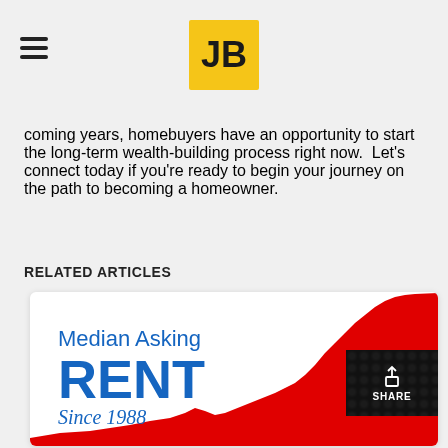JB
coming years, homebuyers have an opportunity to start the long-term wealth-building process right now.  Let's connect today if you're ready to begin your journey on the path to becoming a homeowner.
RELATED ARTICLES
[Figure (area-chart): Area chart showing median asking rent increasing since 1988, with a red filled area chart showing upward trend over time.]